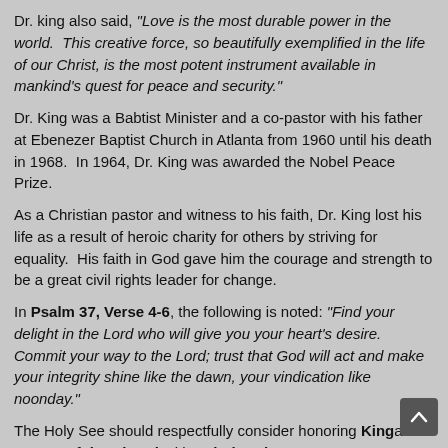Dr. king also said, "Love is the most durable power in the world.  This creative force, so beautifully exemplified in the life of our Christ, is the most potent instrument available in mankind's quest for peace and security."
Dr. King was a Babtist Minister and a co-pastor with his father at Ebenezer Baptist Church in Atlanta from 1960 until his death in 1968.  In 1964, Dr. King was awarded the Nobel Peace Prize.
As a Christian pastor and witness to his faith, Dr. King lost his life as a result of heroic charity for others by striving for equality.  His faith in God gave him the courage and strength to be a great civil rights leader for change.
In Psalm 37, Verse 4-6, the following is noted: "Find your delight in the Lord who will give you your heart's desire.  Commit your way to the Lord; trust that God will act and make your integrity shine like the dawn, your vindication like noonday."
The Holy See should respectfully consider honoring King as a Doctor of the Church with Sainthood.  Moreover, a declaration of martydom can also be considered by the Holy Father on behalf of King for an act of heroic charity